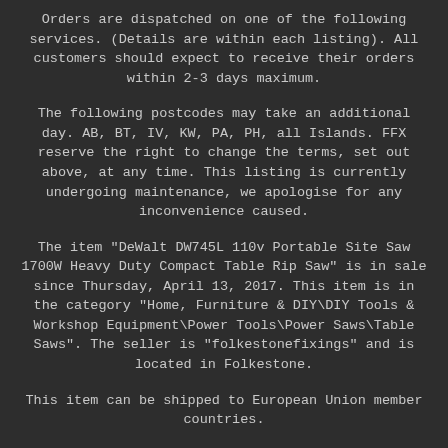Orders are dispatched on one of the following services. (Details are within each listing). All customers should expect to receive their orders within 2-3 days maximum.
The following postcodes may take an additional day. AB, BT, IV, KW, PA, PH, all Islands. FFX reserve the right to change the terms, set out above, at any time. This listing is currently undergoing maintenance, we apologise for any inconvenience caused.
The item "DeWalt DW745L 110v Portable Site Saw 1700W Heavy Duty Compact Table Rip Saw" is in sale since Thursday, April 13, 2017. This item is in the category "Home, Furniture & DIY\DIY Tools & Workshop Equipment\Power Tools\Power Saws\Table Saws". The seller is "folkestonefixings" and is located in Folkestone.
This item can be shipped to European Union member countries.